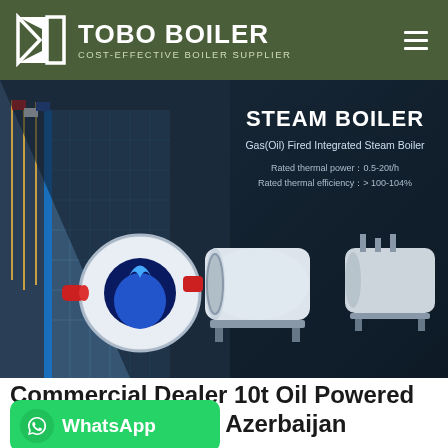TOBO BOILER — COST-EFFECTIVE BOILER SUPPLIER
[Figure (screenshot): Hero banner showing steam boiler products with building in background. Text: STEAM BOILER, Gas(Oil) Fired Integrated Steam Boiler, Rated thermal power: 0.5-20t/h, Rated thermal efficiency: > 100-104%]
Commercial Dealer 10t Oil Powered Plant Azerbaijan
[Figure (logo): WhatsApp button (green rounded rectangle with WhatsApp phone icon and 'WhatsApp' text)]